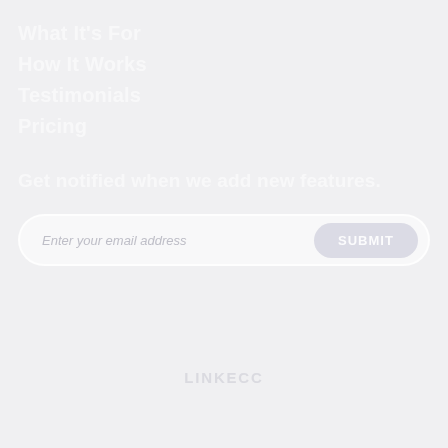What It's For
How It Works
Testimonials
Pricing
Get notified when we add new features.
Enter your email address | SUBMIT
LINKECC